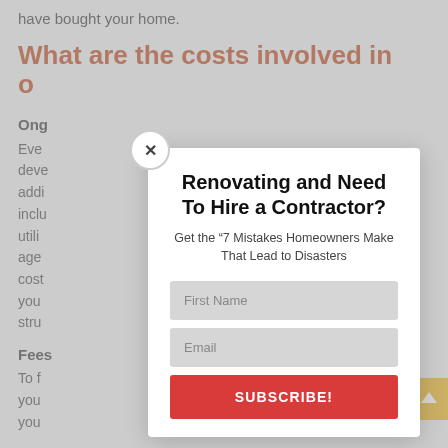have bought your home.
What are the costs involved in o
o
Ong
Even deve addi inclu nd utili age cost ng you id stru
Fees
To f you you
[Figure (screenshot): Modal popup with title 'Renovating and Need To Hire a Contractor?', subtitle 'Get the "7 Mistakes Homeowners Make That Lead to Disasters"', First Name input field, Email input field, SUBSCRIBE! button, and a close (x) button in top-left corner.]